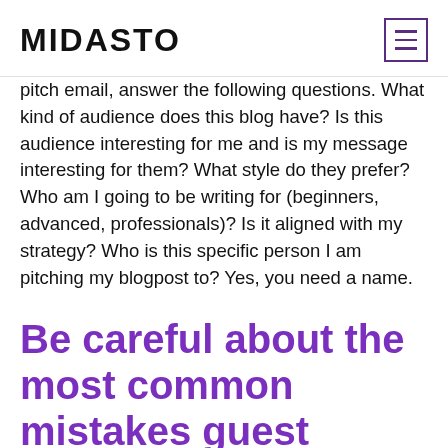MIDASTO
pitch email, answer the following questions. What kind of audience does this blog have? Is this audience interesting for me and is my message interesting for them? What style do they prefer? Who am I going to be writing for (beginners, advanced, professionals)? Is it aligned with my strategy? Who is this specific person I am pitching my blogpost to? Yes, you need a name.
Be careful about the most common mistakes guest bloggers make